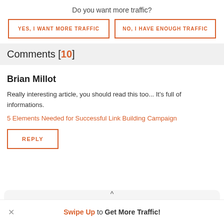Do you want more traffic?
YES, I WANT MORE TRAFFIC
NO, I HAVE ENOUGH TRAFFIC
Comments (10)
Brian Millot
Really interesting article, you should read this too... It's full of informations.
5 Elements Needed for Successful Link Building Campaign
REPLY
Swipe Up to Get More Traffic!